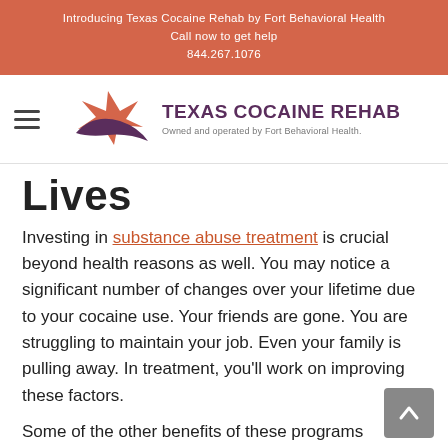Introducing Texas Cocaine Rehab by Fort Behavioral Health
Call now to get help
844.267.1076
[Figure (logo): Texas Cocaine Rehab logo with star graphic and text 'Owned and operated by Fort Behavioral Health.']
Lives
Investing in substance abuse treatment is crucial beyond health reasons as well. You may notice a significant number of changes over your lifetime due to your cocaine use. Your friends are gone. You are struggling to maintain your job. Even your family is pulling away. In treatment, you’ll work on improving these factors.
Some of the other benefits of these programs